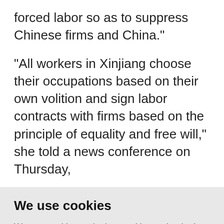forced labor so as to suppress Chinese firms and China."
"All workers in Xinjiang choose their occupations based on their own volition and sign labor contracts with firms based on the principle of equality and free will," she told a news conference on Thursday,
We use cookies
We use cookies and other tracking technologies to improve your browsing experience on our website, to show you personalized content and targeted ads, to analyze our website traffic, and to understand where our visitors are coming from.